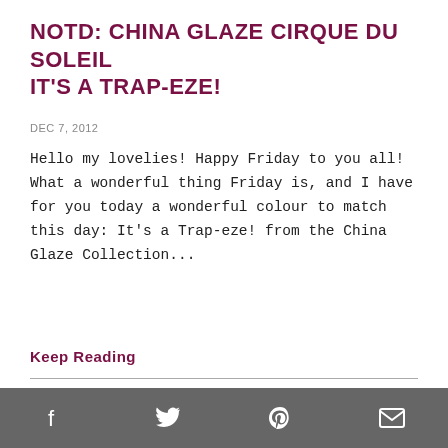NOTD: CHINA GLAZE CIRQUE DU SOLEIL IT'S A TRAP-EZE!
DEC 7, 2012
Hello my lovelies! Happy Friday to you all! What a wonderful thing Friday is, and I have for you today a wonderful colour to match this day: It's a Trap-eze! from the China Glaze Collection...
Keep Reading
[Figure (photo): Close-up photo of a hand with painted nails against a green background, with a dark share button icon in the top right corner]
Social share bar with Facebook, Twitter, Pinterest, and Email icons